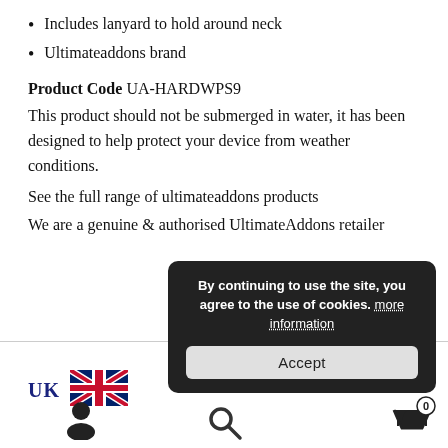Includes lanyard to hold around neck
Ultimateaddons brand
Product Code UA-HARDWPS9
This product should not be submerged in water, it has been designed to help protect your device from weather conditions.
See the full range of ultimateaddons products
We are a genuine & authorised UltimateAddons retailer
[Figure (infographic): Cookie consent popup overlay with dark background, text 'By continuing to use the site, you agree to the use of cookies. more information' and an Accept button. Behind it: UK text label, UK flag, user icon, search icon, cart icon with 0 badge.]